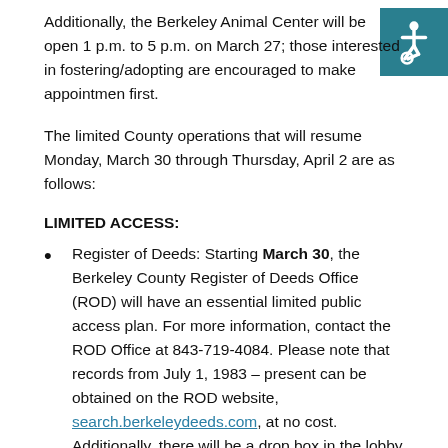Additionally, the Berkeley Animal Center will be open 1 p.m. to 5 p.m. on March 27; those interested in fostering/adopting are encouraged to make appointments first.
[Figure (illustration): Accessibility wheelchair icon on teal background square in top-right corner]
The limited County operations that will resume Monday, March 30 through Thursday, April 2 are as follows:
LIMITED ACCESS:
Register of Deeds: Starting March 30, the Berkeley County Register of Deeds Office (ROD) will have an essential limited public access plan. For more information, contact the ROD Office at 843-719-4084. Please note that records from July 1, 1983 – present can be obtained on the ROD website, search.berkeleydeeds.com, at no cost. Additionally, there will be a drop box in the lobby of